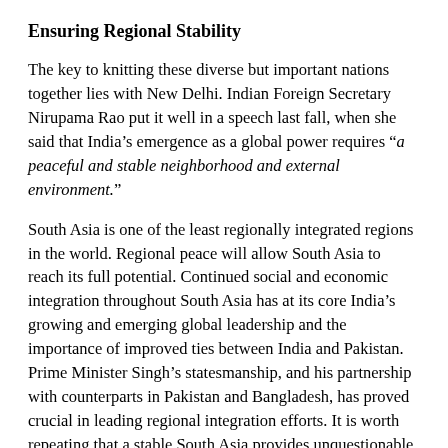Ensuring Regional Stability
The key to knitting these diverse but important nations together lies with New Delhi. Indian Foreign Secretary Nirupama Rao put it well in a speech last fall, when she said that India’s emergence as a global power requires “a peaceful and stable neighborhood and external environment.”
South Asia is one of the least regionally integrated regions in the world. Regional peace will allow South Asia to reach its full potential. Continued social and economic integration throughout South Asia has at its core India’s growing and emerging global leadership and the importance of improved ties between India and Pakistan. Prime Minister Singh’s statesmanship, and his partnership with counterparts in Pakistan and Bangladesh, has proved crucial in leading regional integration efforts. It is worth repeating that a stable South Asia provides unquestionable benefits to the safety and security of the United States.
Finally, I’d like to take note of the recent resumption of talks between India and Pakistan and the demonstration of goodwill by both sides. Both countries made important strides during Home Secretary talks last week by